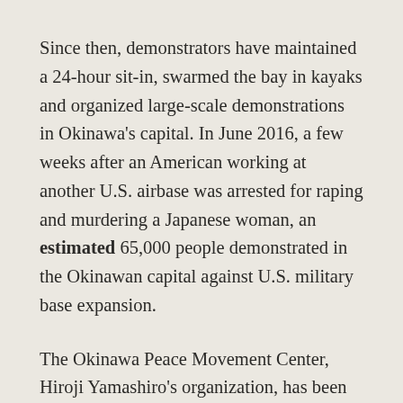Since then, demonstrators have maintained a 24-hour sit-in, swarmed the bay in kayaks and organized large-scale demonstrations in Okinawa's capital. In June 2016, a few weeks after an American working at another U.S. airbase was arrested for raping and murdering a Japanese woman, an estimated 65,000 people demonstrated in the Okinawan capital against U.S. military base expansion.
The Okinawa Peace Movement Center, Hiroji Yamashiro's organization, has been active in leading nonviolent resistance against the Henoko relocation. His apparent politically-motivated and lengthy detention marks a concerning escalation in Tokyo's abusive treatment of nonviolent Okinawan activists, which must be countered by an escalation in resistance tactics.